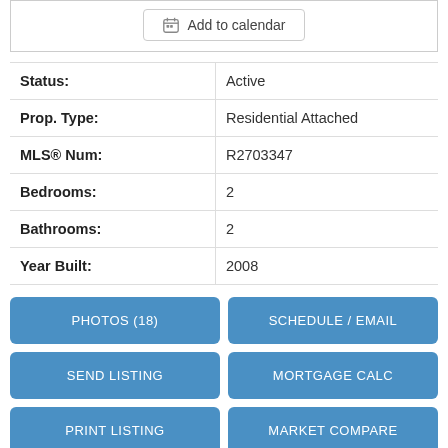[Figure (other): Add to calendar button with calendar icon]
| Status: | Active |
| Prop. Type: | Residential Attached |
| MLS® Num: | R2703347 |
| Bedrooms: | 2 |
| Bathrooms: | 2 |
| Year Built: | 2008 |
PHOTOS (18)
SCHEDULE / EMAIL
SEND LISTING
MORTGAGE CALC
PRINT LISTING
MARKET COMPARE
Location! Location! Location! Welcome to The Flo by Onni, a